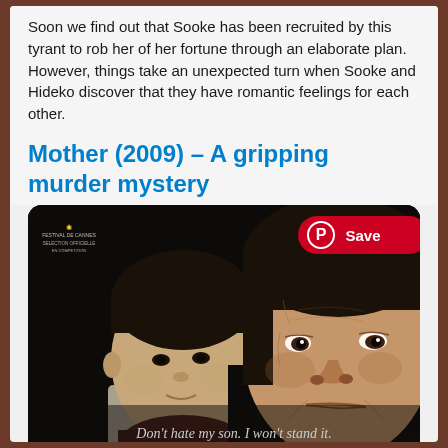Soon we find out that Sooke has been recruited by this tyrant to rob her of her fortune through an elaborate plan. However, things take an unexpected turn when Sooke and Hideko discover that they have romantic feelings for each other.
Mother (2009) – A gripping murder mystery
[Figure (photo): Movie poster for Mother (2009) showing two characters: a young man and an older woman looking intensely at camera. A red Pinterest Save button is in the top right corner. A subtitle reads: Don't hate my son. I won't stand it. Festival de Cannes badge in top left.]